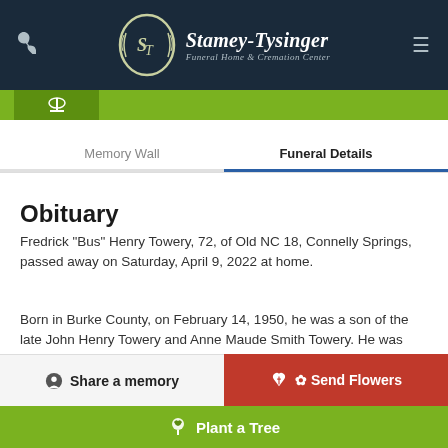Stamey-Tysinger Funeral Home & Cremation Center
Memory Wall   Funeral Details
Obituary
Fredrick "Bus" Henry Towery, 72, of Old NC 18, Connelly Springs, passed away on Saturday, April 9, 2022 at home.
Born in Burke County, on February 14, 1950, he was a son of the late John Henry Towery and Anne Maude Smith Towery. He was retired from the NC DOT. Bus loved to be outside working around his home or fixing a
Share a memory   Send Flowers   Plant a Tree